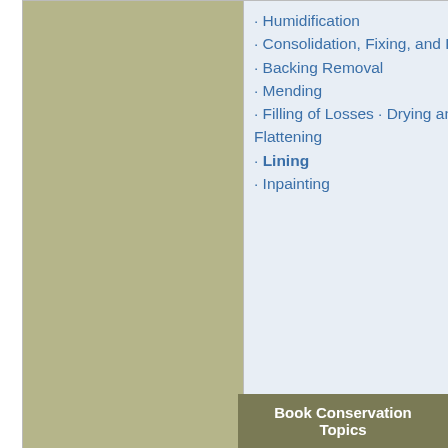| Category | Topics |
| --- | --- |
| (continued) | · Humidification · Consolidation, Fixing, and Facing · Backing Removal · Mending · Filling of Losses · Drying and Flattening · Lining · Inpainting |
| Support Materials | Papyrus · Parchment |
| Specialized Formats | East Asian Scrolls |
Book Conservation Topics